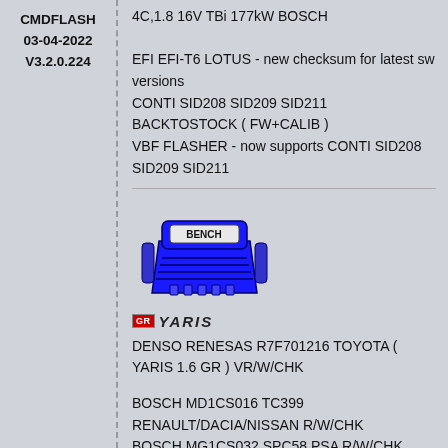CMDFLASH
03-04-2022
V3.2.0.224
4C,1.8 16V TBi 177kW BOSCH

EFI EFI-T6 LOTUS - new checksum for latest sw versions
CONTI SID208 SID209 SID211 BACKTOSTOCK ( FW+CALIB )
VBF FLASHER - now supports CONTI SID208 SID209 SID211
[Figure (illustration): Blue stylized bench/ECU programmer device icon with 'BENCH' label]
GR YARIS
DENSO RENESAS R7F701216 TOYOTA ( YARIS 1.6 GR ) VR/W/CHK
BOSCH MD1CS016 TC399 RENAULT/DACIA/NISSAN R/W/CHK
BOSCH MG1CS032 SPC58 PSA R/W/CHK